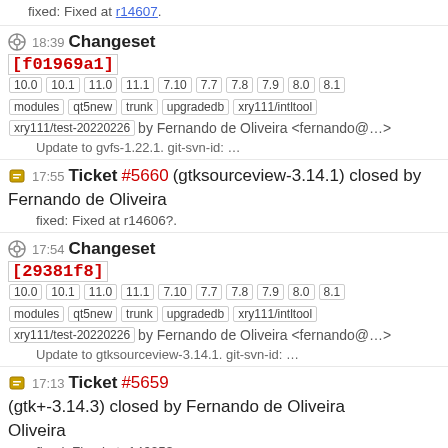fixed: Fixed at r14607.
18:39 Changeset [f01969a1] 10.0 10.1 11.0 11.1 7.10 7.7 7.8 7.9 8.0 8.1 modules qt5new trunk upgradedb xry111/intltool xry111/test-20220226 by Fernando de Oliveira <fernando@...>
Update to gvfs-1.22.1. git-svn-id: …
17:55 Ticket #5660 (gtksourceview-3.14.1) closed by Fernando de Oliveira
fixed: Fixed at r14606?.
17:54 Changeset [29381f8] 10.0 10.1 11.0 11.1 7.10 7.7 7.8 7.9 8.0 8.1 modules qt5new trunk upgradedb xry111/intltool xry111/test-20220226 by Fernando de Oliveira <fernando@...>
Update to gtksourceview-3.14.1. git-svn-id: …
17:13 Ticket #5659 (gtk+-3.14.3) closed by Fernando de Oliveira
fixed: Fixed at r14605?.
17:12 Changeset [45444025] 10.0 10.1 11.0 11.1 7.10 7.7 7.8 7.9 8.0 8.1